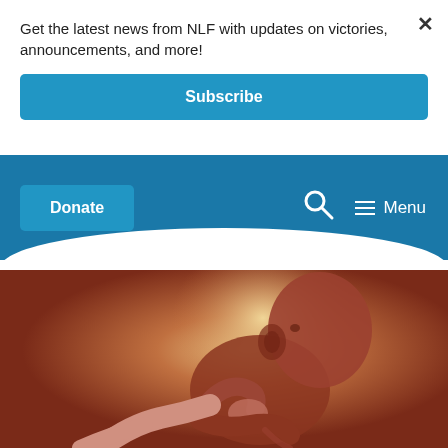Get the latest news from NLF with updates on victories, announcements, and more!
Subscribe
[Figure (screenshot): Navigation bar with Donate button, search icon, and Menu hamburger button on a blue background]
[Figure (illustration): Medical illustration of a fetus in utero, shown in warm reddish-orange tones, curled in fetal position with a glowing light in the background]